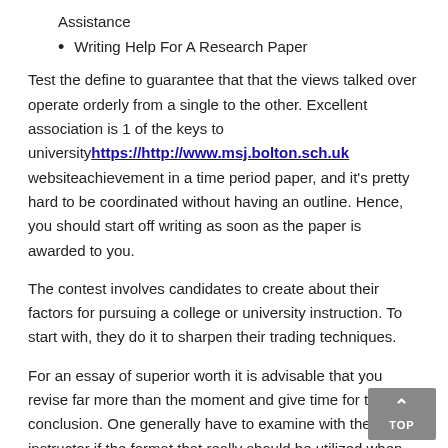Assistance
Writing Help For A Research Paper
Test the define to guarantee that that the views talked over operate orderly from a single to the other. Excellent association is 1 of the keys to universityhttps://http://www.msj.bolton.sch.uk websiteachievement in a time period paper, and it's pretty hard to be coordinated without having an outline. Hence, you should start off writing as soon as the paper is awarded to you.
The contest involves candidates to create about their factors for pursuing a college or university instruction. To start with, they do it to sharpen their trading techniques.
For an essay of superior worth it is advisable that you revise far more than the moment and give time for the conclusion. One generally have to examine with the instructor if the format that really should be utilized when